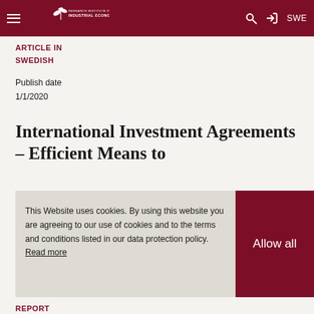Research Institute of Industrial Economics — Navigation bar with hamburger menu, logo, search, login, SWE
ARTICLE IN SWEDISH
Publish date
1/1/2020
International Investment Agreements – Efficient Means to
This Website uses cookies. By using this website you are agreeing to our use of cookies and to the terms and conditions listed in our data protection policy. Read more
Allow all
REPORT
Publish date